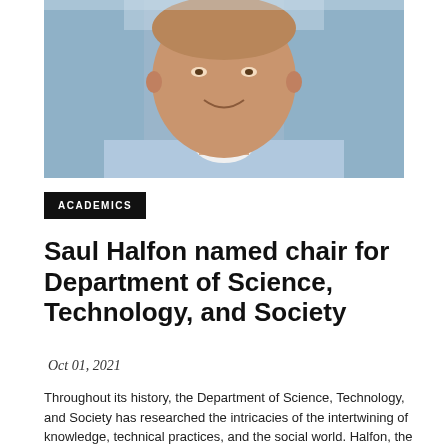[Figure (photo): Headshot of Saul Halfon, a man wearing a light blue button-up shirt, smiling, with a blurred indoor background]
ACADEMICS
Saul Halfon named chair for Department of Science, Technology, and Society
Oct 01, 2021
Throughout its history, the Department of Science, Technology, and Society has researched the intricacies of the intertwining of knowledge, technical practices, and the social world. Halfon, the